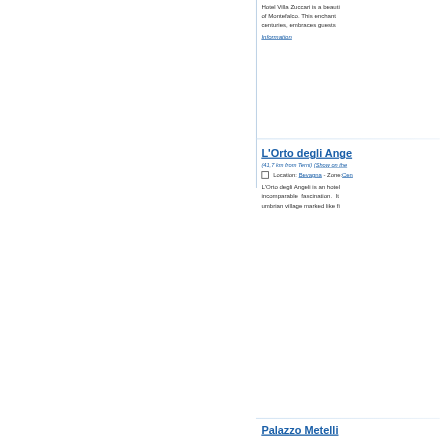Hotel Villa Zuccari is a beautiful country residence located in the heart of Montefalco. This enchanting villa, with its history of several centuries, embraces guests with a warm family atmosphere. More Information
L'Orto degli Ange...
(41,7 km from Terni) (Show on the...)
Location: Bevagna - Zone: Ce...
L'Orto degli Angeli is an hotel of incomparable fascination. It ... umbrian village marked like fi...
Palazzo Metelli...